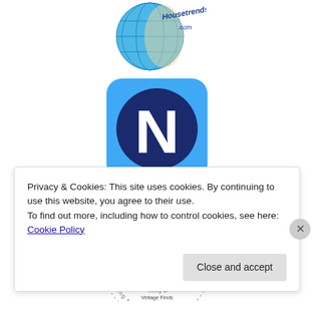[Figure (logo): HouseTrends.com logo with globe graphic]
[Figure (logo): NorthJersey.com logo — blue rounded square with white N, text NorthJersey.com below]
[Figure (logo): Dagmar's Home circular badge logo — Lifestyle, Decorating, Parenting, Living surrounding DAGMARS Home I was featured! Thrifty & Vintage Finds Link Party]
Privacy & Cookies: This site uses cookies. By continuing to use this website, you agree to their use.
To find out more, including how to control cookies, see here: Cookie Policy
Close and accept